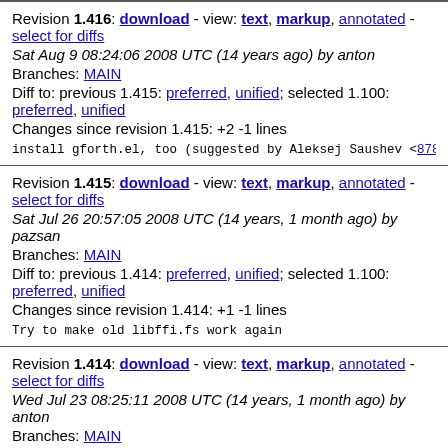Revision 1.416: download - view: text, markup, annotated - select for diffs
Sat Aug 9 08:24:06 2008 UTC (14 years ago) by anton
Branches: MAIN
Diff to: previous 1.415: preferred, unified; selected 1.100: preferred, unified
Changes since revision 1.415: +2 -1 lines
install gforth.el, too (suggested by Aleksej Saushev <878
Revision 1.415: download - view: text, markup, annotated - select for diffs
Sat Jul 26 20:57:05 2008 UTC (14 years, 1 month ago) by pazsan
Branches: MAIN
Diff to: previous 1.414: preferred, unified; selected 1.100: preferred, unified
Changes since revision 1.414: +1 -1 lines
Try to make old libffi.fs work again
Revision 1.414: download - view: text, markup, annotated - select for diffs
Wed Jul 23 08:25:11 2008 UTC (14 years, 1 month ago) by anton
Branches: MAIN